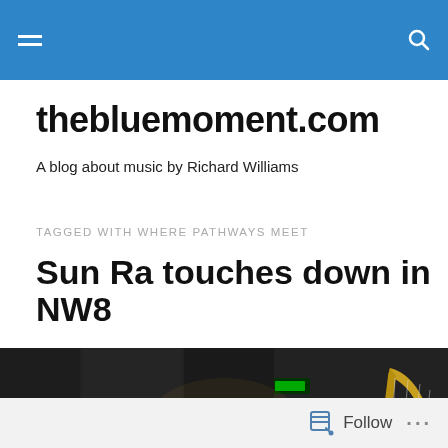thebluemoment.com — navigation bar
thebluemoment.com
A blog about music by Richard Williams
TAGGED WITH WHERE PATHWAYS MEET
Sun Ra touches down in NW8
[Figure (photo): Dark concert hall photo showing musicians performing with a harp visible on the right side and an audience in the background]
Follow